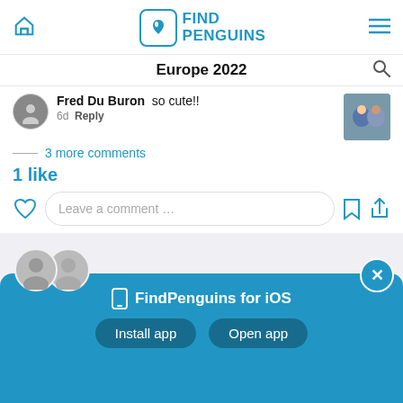FindPenguins — Europe 2022
Fred Du Buron  so cute!!
6d   Reply
3 more comments
1 like
Leave a comment …
[Figure (screenshot): Gray section with two overlapping user avatar silhouettes and an ellipsis menu icon]
Isle of Skye, Scotland
FindPenguins for iOS
Install app   Open app